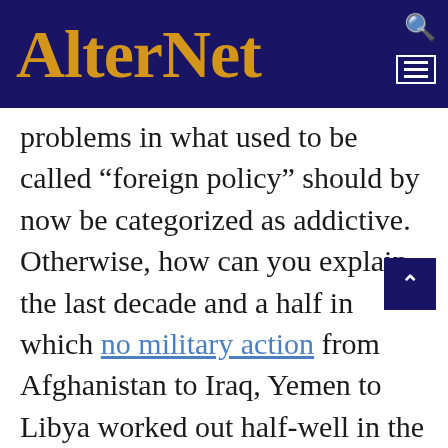AlterNet
problems in what used to be called “foreign policy” should by now be categorized as addictive.  Otherwise, how can you explain the last decade and a half in which no military action from Afghanistan to Iraq, Yemen to Libya worked out half-well in the long run (or even, often enough, in the short run), and yet the U.S. military remains the option of first, not last, resort in just about any imaginable situation?  All this in a vast region in which failed states are piling up, nations are disintegrating, terror insurgencies are